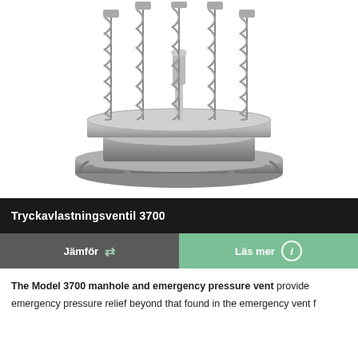[Figure (photo): Industrial pressure relief valve / manhole cover with multiple heavy-duty coil springs mounted on a circular flanged body, stainless steel construction]
Tryckavlastningsventil 3700
Jämför   ⇄   Läs mer   ⓘ
The Model 3700 manhole and emergency pressure vent provide emergency pressure relief beyond that found in the emergency vent f...